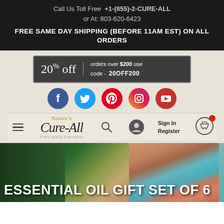Call Us Toll Free  +1-(855)-2-CURE-ALL
or At: 803-620-6423
FREE SAME DAY SHIPPING (BEFORE 11AM EST) ON ALL ORDERS
[Figure (infographic): Promotional banner: 20% off orders over $200 use code - 20OFF200]
[Figure (infographic): Social media icons: Facebook, Twitter, Pinterest, Instagram, YouTube]
[Figure (logo): Nature's Cure-All logo with tagline 'Finest quality from nature', hamburger menu, search icon, account icon, Sign In / Register text, shopping cart icon]
ESSENTIAL OIL GIFT SET OF 6